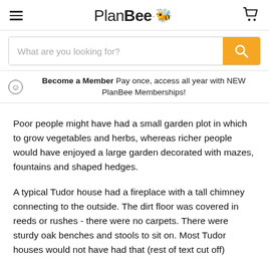PlanBee
[Figure (screenshot): Search bar with placeholder text 'What are you looking for?' and an orange search button with magnifying glass icon]
Become a Member Pay once, access all year with NEW PlanBee Memberships!
Poor people might have had a small garden plot in which to grow vegetables and herbs, whereas richer people would have enjoyed a large garden decorated with mazes, fountains and shaped hedges.
A typical Tudor house had a fireplace with a tall chimney connecting to the outside. The dirt floor was covered in reeds or rushes - there were no carpets. There were sturdy oak benches and stools to sit on. Most Tudor houses would not have had that (rest of text cut off)